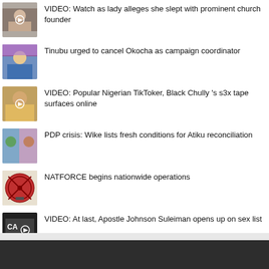VIDEO: Watch as lady alleges she slept with prominent church founder
Tinubu urged to cancel Okocha as campaign coordinator
VIDEO: Popular Nigerian TikToker, Black Chully 's s3x tape surfaces online
PDP crisis: Wike lists fresh conditions for Atiku reconciliation
NATFORCE begins nationwide operations
VIDEO: At last, Apostle Johnson Suleiman opens up on sex list